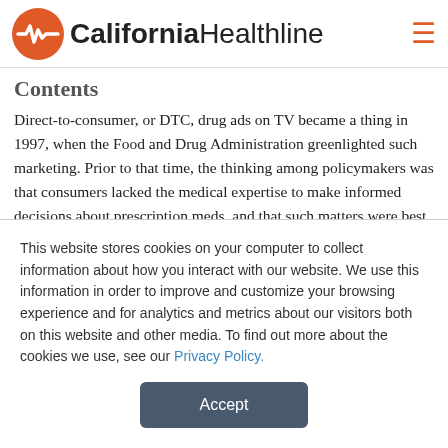California Healthline
Contents
Direct-to-consumer, or DTC, drug ads on TV became a thing in 1997, when the Food and Drug Administration greenlighted such marketing. Prior to that time, the thinking among policymakers was that consumers lacked the medical expertise to make informed decisions about prescription meds, and that such matters were best to left to doctors. (David Lazarus, 2/15)
Los Angeles Times: How Aetna Frittered Away $1.8 Billion On A Merger Destined
This website stores cookies on your computer to collect information about how you interact with our website. We use this information in order to improve and customize your browsing experience and for analytics and metrics about our visitors both on this website and other media. To find out more about the cookies we use, see our Privacy Policy.